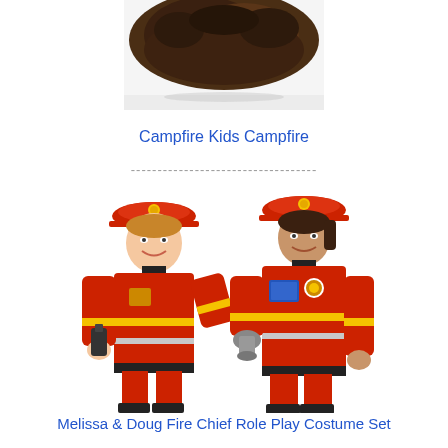[Figure (photo): Partial image of a campfire or wood/embers at the top of the page, cropped]
Campfire Kids Campfire
-----------------------------------
[Figure (photo): Two children dressed in red firefighter/fire chief costumes with helmets. One child holds a walkie-talkie and the other holds a fire hose nozzle.]
Melissa & Doug Fire Chief Role Play Costume Set